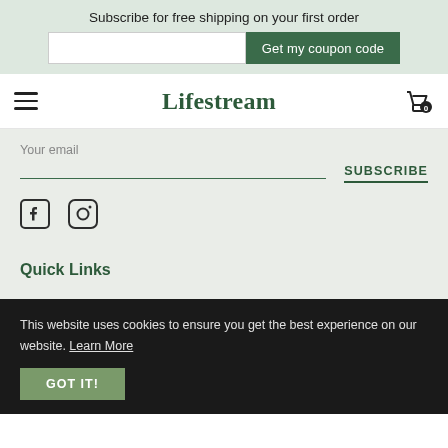Subscribe for free shipping on your first order
Get my coupon code
Lifestream
Your email
SUBSCRIBE
[Figure (other): Facebook and Instagram social media icons]
Quick Links
This website uses cookies to ensure you get the best experience on our website. Learn More
GOT IT!